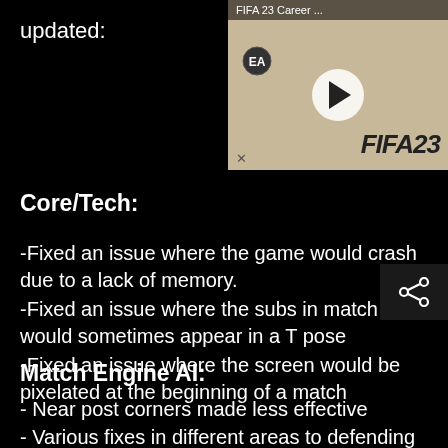updated:
[Figure (screenshot): FIFA 23 Career Mode video thumbnail with play button and FIFA 23 logo on beige background]
Core/Tech:
-Fixed an issue where the game would crash due to a lack of memory.
-Fixed an issue where the subs in match would sometimes appear in a T pose
-Fixed an issue where the screen would be pixelated at the beginning of a match
Match Engine AI:
- Near post corners made less effective
- Various fixes in different areas to defending